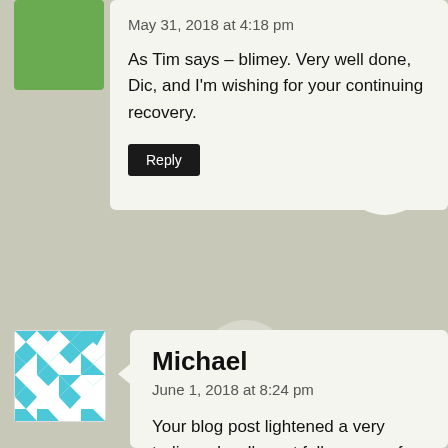May 31, 2018 at 4:18 pm
As Tim says – blimey. Very well done, Dic, and I'm wishing for your continuing recovery.
Reply
Michael
June 1, 2018 at 8:24 pm
Your blog post lightened a very tedious day. I'm not fully aware of word press and you may need to insert a table to get the results you expected. On a mobile in landscape the results looked much better...